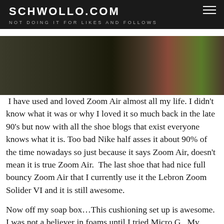SCHWOLLO.COM
NOT DOING IT FOR LIKES AND FOLLOWS
[Figure (photo): Partial photo of a person or subject, cropped, dark tones with red and green accents visible at top of page]
I have used and loved Zoom Air almost all my life. I didn’t know what it was or why I loved it so much back in the late 90’s but now with all the shoe blogs that exist everyone knows what it is. Too bad Nike half asses it about 90% of the time nowadays so just because it says Zoom Air, doesn’t mean it is true Zoom Air.  The last shoe that had nice full bouncy Zoom Air that I currently use it the Lebron Zoom Solider VI and it is still awesome.
Now off my soap box…This cushioning set up is awesome. I was not a believer in foams until I tried Micro G.  My knees feel great and the transition is seamless since it is full length and not targeted like in the Hyperdunk.  It is bouncy yet firm and not overly soft like the Kobe 8’s full length insert. It almost feels like a full length Zoom unit which says a lot about Micro G.